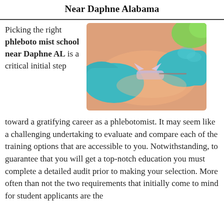Near Daphne Alabama
Picking the right phlebotomist school near Daphne AL is a critical initial step toward a gratifying career as a phlebotomist. It may seem like a challenging undertaking to evaluate and compare each of the training options that are accessible to you. Notwithstanding, to guarantee that you will get a top-notch education you must complete a detailed audit prior to making your selection. More often than not the two requirements that initially come to mind for student applicants are the
[Figure (photo): Close-up of a phlebotomist wearing teal/blue gloves inserting a needle into a patient's arm for blood draw]